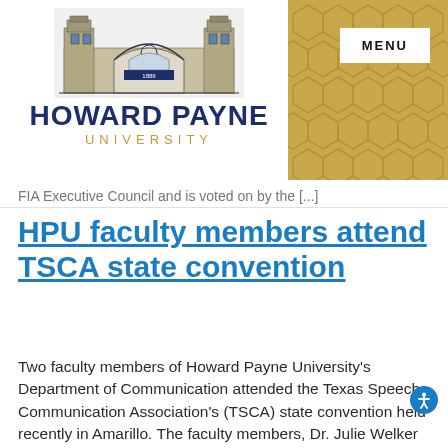[Figure (logo): Howard Payne University logo with arch/gate illustration and text HOWARD PAYNE UNIVERSITY]
FIA Executive Council and is voted on by the [...]
HPU faculty members attend TSCA state convention
Two faculty members of Howard Payne University's Department of Communication attended the Texas Speech Communication Association's (TSCA) state convention held recently in Amarillo. The faculty members, Dr. Julie Welker and Richelle Hair, both had an opportunity to be on a discussion panel. Dr. Julie